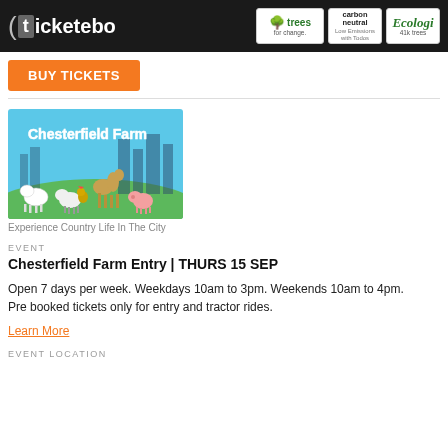Ticketebo | Trees for change | Carbon Neutral | Ecologi 41k trees
BUY TICKETS
[Figure (illustration): Chesterfield Farm logo banner: blue sky background with cartoon farm animals (camel, sheep, pig, cow, rooster, goat) on green grass, with city skyline silhouette and white text 'Chesterfield Farm']
Experience Country Life In The City
EVENT
Chesterfield Farm Entry | THURS 15 SEP
Open 7 days per week. Weekdays 10am to 3pm. Weekends 10am to 4pm. Pre booked tickets only for entry and tractor rides.
Learn More
EVENT LOCATION